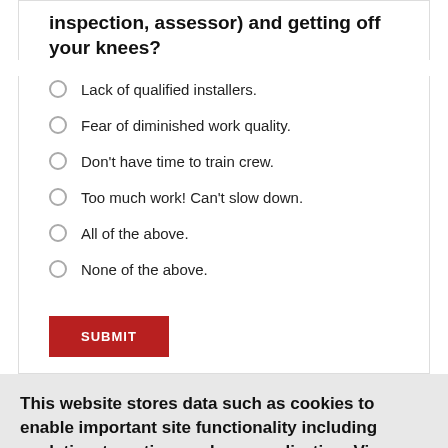inspection, assessor) and getting off your knees?
Lack of qualified installers.
Fear of diminished work quality.
Don't have time to train crew.
Too much work! Can't slow down.
All of the above.
None of the above.
SUBMIT
This website stores data such as cookies to enable important site functionality including analytics, targeting, and personalization. View our privacy policy.
Accept
Deny